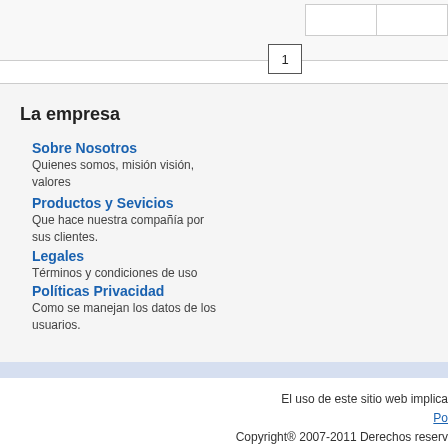[Figure (other): Partial table fragment visible at top right of page with two empty cells]
1
La empresa
Sobre Nosotros
Quienes somos, misión visión, valores
Productos y Sevicios
Que hace nuestra compañía por sus clientes.
Legales
Términos y condiciones de uso
Políticas Privacidad
Como se manejan los datos de los usuarios.
El uso de este sitio web implica
Po
Copyright® 2007-2011 Derechos reserv